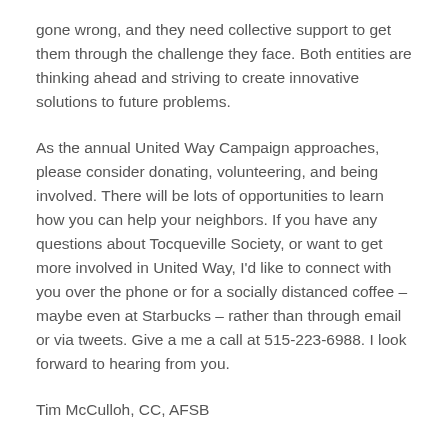gone wrong, and they need collective support to get them through the challenge they face. Both entities are thinking ahead and striving to create innovative solutions to future problems.
As the annual United Way Campaign approaches, please consider donating, volunteering, and being involved. There will be lots of opportunities to learn how you can help your neighbors. If you have any questions about Tocqueville Society, or want to get more involved in United Way, I'd like to connect with you over the phone or for a socially distanced coffee – maybe even at Starbucks – rather than through email or via tweets. Give a me a call at 515-223-6988. I look forward to hearing from you.
Tim McCulloh, CC, AFSB